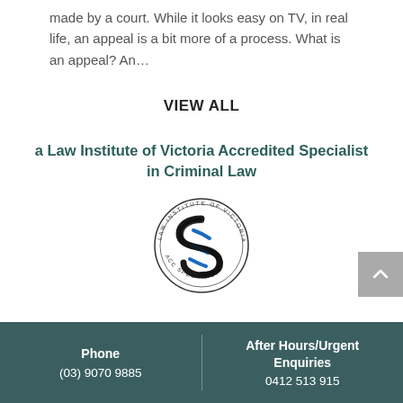made by a court. While it looks easy on TV, in real life, an appeal is a bit more of a process. What is an appeal? An…
VIEW ALL
a Law Institute of Victoria Accredited Specialist in Criminal Law
[Figure (logo): Law Institute of Victoria Accredited Specialist circular logo with stylized S mark in black and blue]
Phone (03) 9070 9885 | After Hours/Urgent Enquiries 0412 513 915